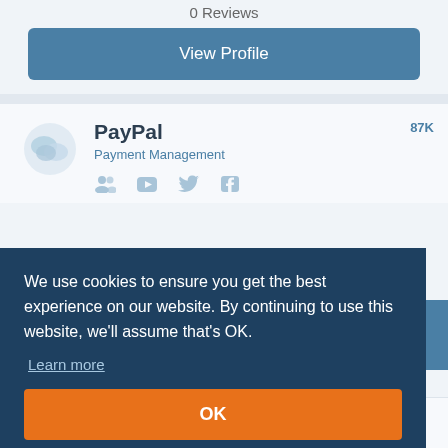0 Reviews
View Profile
PayPal
Payment Management
87K
We use cookies to ensure you get the best experience on our website. By continuing to use this website, we'll assume that's OK.
Learn more
OK
Braintree